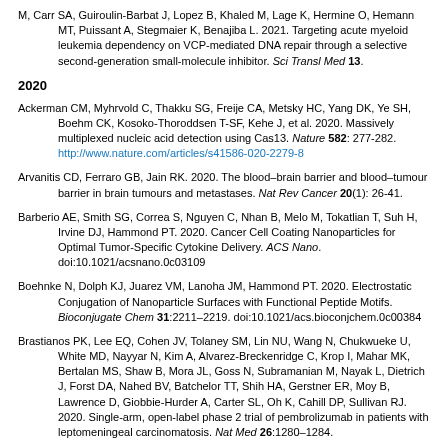M, Carr SA, Guiroulin-Barbat J, Lopez B, Khaled M, Lage K, Hermine O, Hemann MT, Puissant A, Stegmaier K, Benajiba L. 2021. Targeting acute myeloid leukemia dependency on VCP-mediated DNA repair through a selective second-generation small-molecule inhibitor. Sci Transl Med 13.
2020
Ackerman CM, Myhrvold C, Thakku SG, Freije CA, Metsky HC, Yang DK, Ye SH, Boehm CK, Kosoko-Thoroddsen T-SF, Kehe J, et al. 2020. Massively multiplexed nucleic acid detection using Cas13. Nature 582: 277-282. http://www.nature.com/articles/s41586-020-2279-8
Arvanitis CD, Ferraro GB, Jain RK. 2020. The blood–brain barrier and blood–tumour barrier in brain tumours and metastases. Nat Rev Cancer 20(1): 26-41.
Barberio AE, Smith SG, Correa S, Nguyen C, Nhan B, Melo M, Tokatlian T, Suh H, Irvine DJ, Hammond PT. 2020. Cancer Cell Coating Nanoparticles for Optimal Tumor-Specific Cytokine Delivery. ACS Nano. doi:10.1021/acsnano.0c03109
Boehnke N, Dolph KJ, Juarez VM, Lanoha JM, Hammond PT. 2020. Electrostatic Conjugation of Nanoparticle Surfaces with Functional Peptide Motifs. Bioconjugate Chem 31:2211–2219. doi:10.1021/acs.bioconjchem.0c00384
Brastianos PK, Lee EQ, Cohen JV, Tolaney SM, Lin NU, Wang N, Chukwueke U, White MD, Nayyar N, Kim A, Alvarez-Breckenridge C, Krop I, Mahar MK, Bertalan MS, Shaw B, Mora JL, Goss N, Subramanian M, Nayak L, Dietrich J, Forst DA, Nahed BV, Batchelor TT, Shih HA, Gerstner ER, Moy B, Lawrence D, Giobbie-Hurder A, Carter SL, Oh K, Cahill DP, Sullivan RJ. 2020. Single-arm, open-label phase 2 trial of pembrolizumab in patients with leptomeningeal carcinomatosis. Nat Med 26:1280–1284.